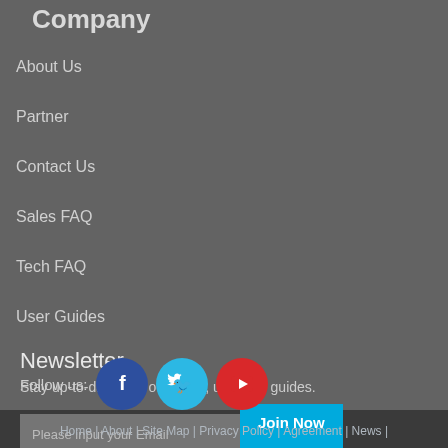Company
About Us
Partner
Contact Us
Sales FAQ
Tech FAQ
User Guides
Newsletter
Stay up-to-date with our news, updates, guides.
Please input your Email   Join Now
Follow us:
Home | About | Site Map | Privacy Policy | Agreement | News |